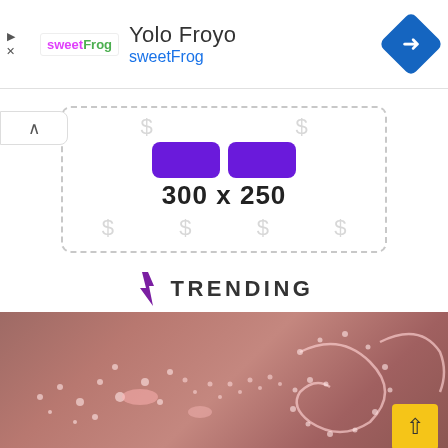[Figure (screenshot): SweetFrog Yolo Froyo ad banner with logo, title, subtitle, and navigation diamond icon]
[Figure (screenshot): 300x250 ad placeholder with dashed border, purple blocks, and dollar sign icons]
TRENDING
[Figure (photo): Close-up skin texture photo showing light-colored dotted patterns on reddish-brown skin background]